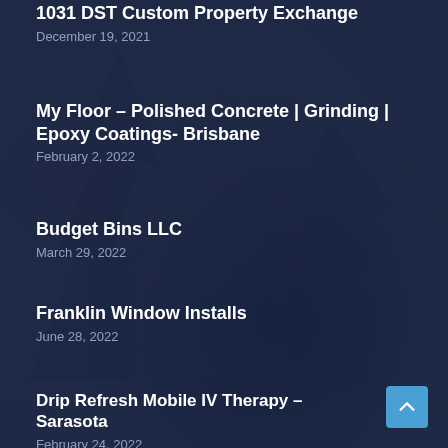1031 DST Custom Property Exchange
December 19, 2021
My Floor – Polished Concrete | Grinding | Epoxy Coatings- Brisbane
February 2, 2022
Budget Bins LLC
March 29, 2022
Franklin Window Installs
June 28, 2022
Drip Refresh Mobile IV Therapy – Sarasota
February 24, 2022